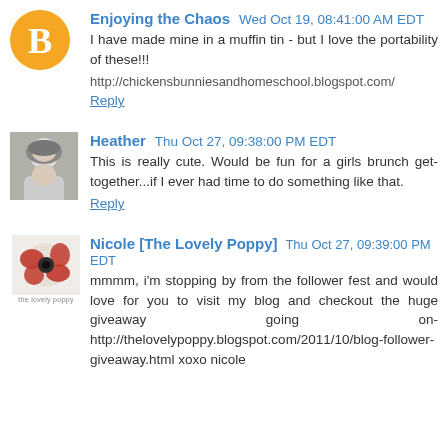Enjoying the Chaos  Wed Oct 19, 08:41:00 AM EDT
I have made mine in a muffin tin - but I love the portability of these!!!

http://chickensbunniesandhomeschool.blogspot.com/
Reply
Heather  Thu Oct 27, 09:38:00 PM EDT
This is really cute. Would be fun for a girls brunch get-together...if I ever had time to do something like that.
Reply
Nicole [The Lovely Poppy]  Thu Oct 27, 09:39:00 PM EDT
mmmm, i'm stopping by from the follower fest and would love for you to visit my blog and checkout the huge giveaway going on- http://thelovelypoppy.blogspot.com/2011/10/blog-follower-giveaway.html xoxo nicole